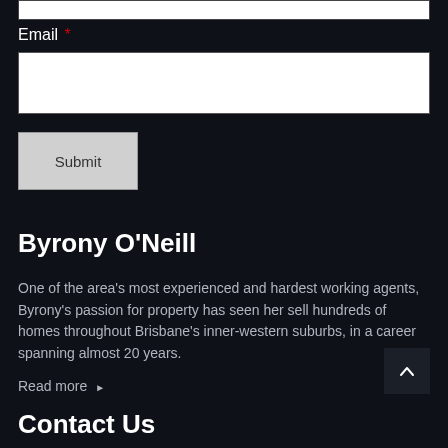Email *
Submit
Byrony O'Neill
One of the area's most experienced and hardest working agents, Byrony's passion for property has seen her sell hundreds of homes throughout Brisbane's inner-western suburbs, in a career spanning almost 20 years.
Read more ▶
Contact Us